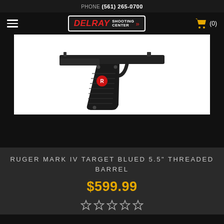PHONE (561) 265-0700
[Figure (logo): Delray Shooting Center logo with hamburger menu and shopping cart]
[Figure (photo): Ruger Mark IV pistol with black grip shown close-up against white background]
RUGER MARK IV TARGET BLUED 5.5" THREADED BARREL
$599.99
[Figure (other): Five empty star rating icons]